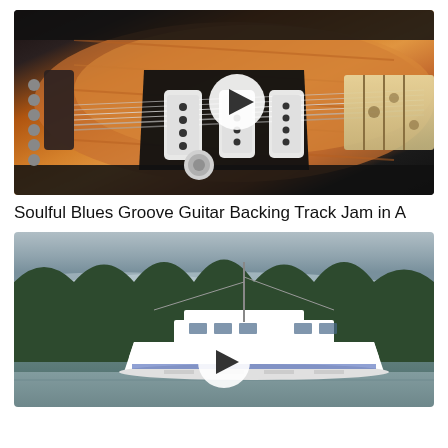[Figure (photo): Photo of an orange/wood-grain electric guitar (Stratocaster-style) with black pickguard and three single-coil pickups, maple fretboard, against a dark amplifier background. A white circular play button overlay is centered on the image.]
Soulful Blues Groove Guitar Backing Track Jam in A
[Figure (photo): Photo of a white motor yacht on calm water with misty forested mountains in the background. A white circular play button overlay is centered on the image.]